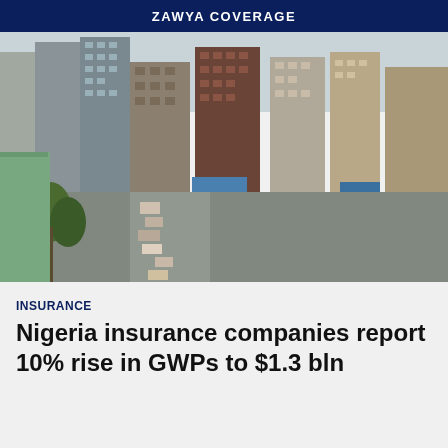ZAWYA COVERAGE
[Figure (photo): Aerial view of a busy urban street in Nigeria with tall buildings, heavy traffic, palm trees, and densely packed city infrastructure]
INSURANCE
Nigeria insurance companies report 10% rise in GWPs to $1.3 bln